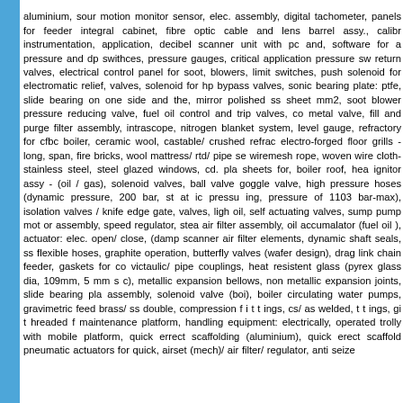aluminium, sour motion monitor sensor, elec. assembly, digital tachometer, panels for feeder integral cabinet, fibre optic cable and lens barrel assy., calibr instrumentation, application, decibel scanner unit with pc and, software for a pressure and dp swithces, pressure gauges, critical application pressure sw return valves, electrical control panel for soot, blowers, limit switches, push solenoid for electromatic relief, valves, solenoid for hp bypass valves, sonic bearing plate: ptfe, slide bearing on one side and the, mirror polished ss sheet mm2, soot blower pressure reducing valve, fuel oil control and trip valves, co metal valve, fill and purge filter assembly, intrascope, nitrogen blanket system, level gauge, refractory for cfbc boiler, ceramic wool, castable/ crushed refrac electro-forged floor grills - long, span, fire bricks, wool mattress/ rtd/ pipe se wiremesh rope, woven wire cloth-stainless steel, steel glazed windows, cd. pla sheets for, boiler roof, hea ignitor assy - (oil / gas), solenoid valves, ball valve goggle valve, high pressure hoses (dynamic pressure, 200 bar, st at ic pressu ing, pressure of 1103 bar-max), isolation valves / knife edge gate, valves, ligh oil, self actuating valves, sump pump mot or assembly, speed regulator, stea air filter assembly, oil accumalator (fuel oil ), actuator: elec. open/ close, (damp scanner air filter elements, dynamic shaft seals, ss flexible hoses, graphite operation, butterfly valves (wafer design), drag link chain feeder, gaskets for co victaulic/ pipe couplings, heat resistent glass (pyrex glass dia, 109mm, 5 mm s c), metallic expansion bellows, non metallic expansion joints, slide bearing pla assembly, solenoid valve (boi), boiler circulating water pumps, gravimetric feed brass/ ss double, compression f i t t ings, cs/ as welded, t t ings, gi t hreaded f maintenance platform, handling equipment: electrically, operated trolly with mobile platform, quick errect scaffolding (aluminium), quick erect scaffold pneumatic actuators for quick, airset (mech)/ air filter/ regulator, anti seize